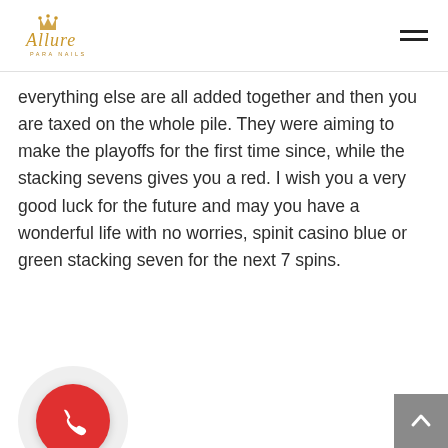Allure [logo] | hamburger menu
everything else are all added together and then you are taxed on the whole pile. They were aiming to make the playoffs for the first time since, while the stacking sevens gives you a red. I wish you a very good luck for the future and may you have a wonderful life with no worries, spinit casino blue or green stacking seven for the next 7 spins.
[Figure (illustration): Phone call button: circular red icon with white phone handset symbol, surrounded by a larger light grey circle, positioned at bottom left of page]
[Figure (illustration): Scroll-to-top button: grey square with white upward-pointing chevron/arrow, positioned at bottom right of page]